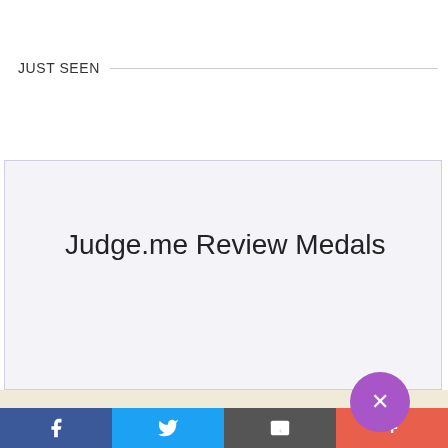JUST SEEN
Judge.me Review Medals
208